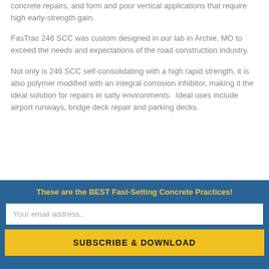concrete repairs, and form and pour vertical applications that require high early-strength gain.
FasTrac 246 SCC was custom designed in our lab in Archie, MO to exceed the needs and expectations of the road construction industry.
Not only is 246 SCC self-consolidating with a high rapid strength, it is also polymer modified with an integral corrosion inhibitor, making it the ideal solution for repairs in salty environments.  Ideal uses include airport runways, bridge deck repair and parking decks.
These are the BEST Fast-Setting Concrete Practices!
Your email address..
SUBSCRIBE & DOWNLOAD